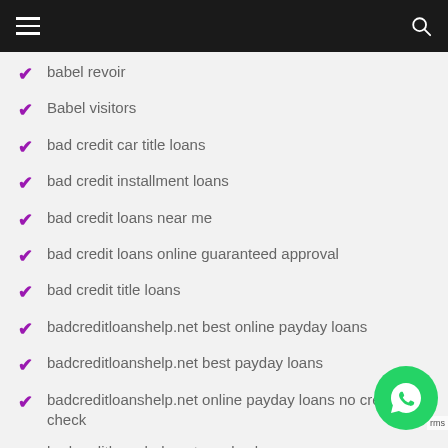babel revoir
Babel visitors
bad credit car title loans
bad credit installment loans
bad credit loans near me
bad credit loans online guaranteed approval
bad credit title loans
badcreditloanshelp.net best online payday loans
badcreditloanshelp.net best payday loans
badcreditloanshelp.net online payday loans no credit check
badcreditloanshelp.net payday loans
badcreditloanshelp.net payday loans near me
badcreditloanshelp.net payday loans online no credit